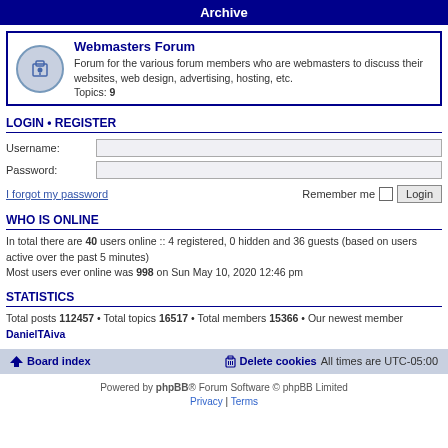Archive
Webmasters Forum
Forum for the various forum members who are webmasters to discuss their websites, web design, advertising, hosting, etc. Topics: 9
LOGIN • REGISTER
Username:
Password:
I forgot my password
Remember me  Login
WHO IS ONLINE
In total there are 40 users online :: 4 registered, 0 hidden and 36 guests (based on users active over the past 5 minutes)
Most users ever online was 998 on Sun May 10, 2020 12:46 pm
STATISTICS
Total posts 112457 • Total topics 16517 • Total members 15366 • Our newest member DanielTAiva
Board index   Delete cookies   All times are UTC-05:00
Powered by phpBB® Forum Software © phpBB Limited
Privacy | Terms